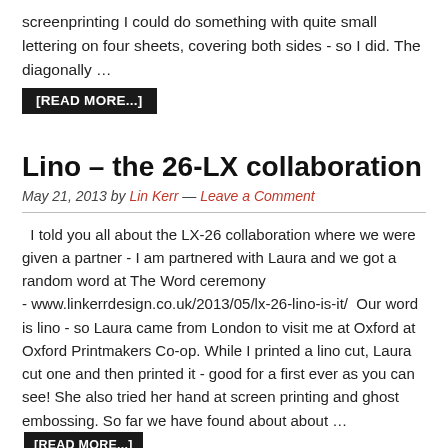screenprinting I could do something with quite small lettering on four sheets, covering both sides - so I did. The diagonally …
[READ MORE...]
Lino – the 26-LX collaboration
May 21, 2013 by Lin Kerr — Leave a Comment
I told you all about the LX-26 collaboration where we were given a partner - I am partnered with Laura and we got a random word at The Word ceremony - www.linkerrdesign.co.uk/2013/05/lx-26-lino-is-it/  Our word is lino - so Laura came from London to visit me at Oxford at Oxford Printmakers Co-op. While I printed a lino cut, Laura cut one and then printed it - good for a first ever as you can see! She also tried her hand at screen printing and ghost embossing. So far we have found about about …
[READ MORE...]